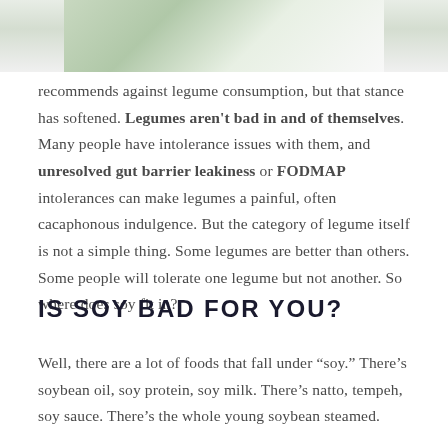[Figure (photo): Top portion of a food photo, partially cropped, showing green vegetable (likely edamame/soybean) against a light background.]
recommends against legume consumption, but that stance has softened. Legumes aren't bad in and of themselves. Many people have intolerance issues with them, and unresolved gut barrier leakiness or FODMAP intolerances can make legumes a painful, often cacaphonous indulgence. But the category of legume itself is not a simple thing. Some legumes are better than others. Some people will tolerate one legume but not another. So where does soy fit in?
IS SOY BAD FOR YOU?
Well, there are a lot of foods that fall under “soy.” There’s soybean oil, soy protein, soy milk. There’s natto, tempeh, soy sauce. There’s the whole young soybean steamed.